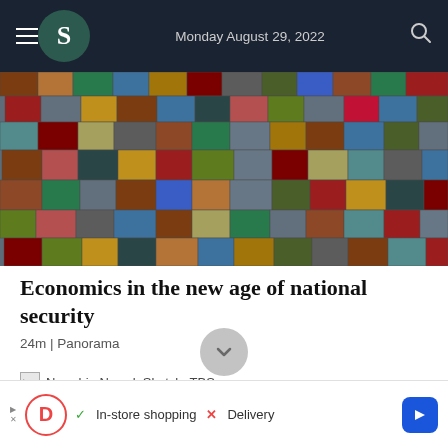Monday August 29, 2022
[Figure (photo): Aerial view of stacked colorful shipping containers at a port]
Economics in the new age of national security
24m | Panorama
Nawshin Nawal. Sketch: TBS